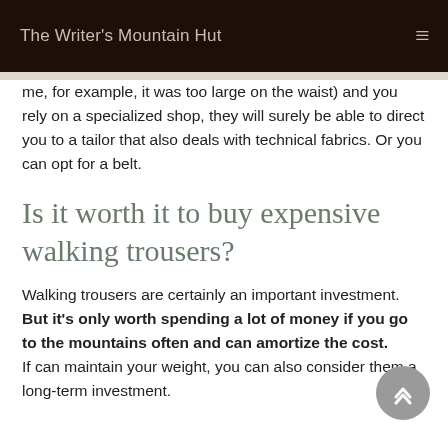The Writer's Mountain Hut
me, for example, it was too large on the waist) and you rely on a specialized shop, they will surely be able to direct you to a tailor that also deals with technical fabrics. Or you can opt for a belt.
Is it worth it to buy expensive walking trousers?
Walking trousers are certainly an important investment. But it's only worth spending a lot of money if you go to the mountains often and can amortize the cost. If can maintain your weight, you can also consider them a long-term investment.